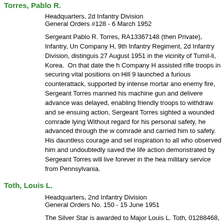Torres, Pablo R.
Headquarters, 2d Infantry Division
General Orders #128 - 6 March 1952
Sergeant Pablo R. Torres, RA13367148 (then Private), Infantry, Un Company H, 9th Infantry Regiment, 2d Infantry Division, distinguis 27 August 1951 in the vicinity of Tumil-li, Korea. On that date the h Company H assisted rifle troops in securing vital positions on Hill 9 launched a furious counterattack, supported by intense mortar ano enemy fire, Sergeant Torres manned his machine gun and delivere advance was delayed, enabling friendly troops to withdraw and se ensuing action, Sergeant Torres sighted a wounded comrade lying Without regard for his personal safety, he advanced through the w comrade and carried him to safety. His dauntless courage and sel inspiration to all who observed him and undoubtedly saved the life action demonstrated by Sergeant Torres will live forever in the hea military service from Pennsylvania.
Toth, Louis L.
Headquarters, 2nd Infantry Division
General Orders No. 150 - 15 June 1951
The Silver Star is awarded to Major Louis L. Toth, 01288468, Infan member of Headquarters Company, 3d Battalion, (then Command Regiment, 2d Infantry Division, who distinguished himself by gallar the vicinity of Saemal, Korea. On that day Company K was surroun forced to withdraw into a perimeter defense by incessant enemy a Major Toth, with complete disregard for the intense hail of enemy s mortar fire, fearlessly moved about the perimeter deploying his pla